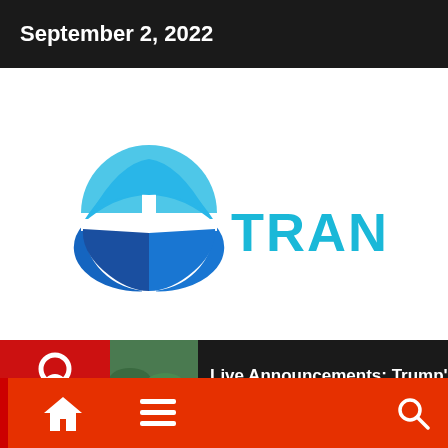September 2, 2022
[Figure (logo): Trance logo: blue circular T icon with the word TRANCE in cyan/teal letters]
Live Announcements: Trump's Specia...
Home and navigation bar with home icon, hamburger menu, and search icon